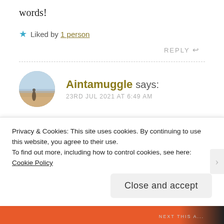words!
★ Liked by 1 person
REPLY ↩
Aintamuggle says: 23RD JUL 2021 AT 6:49 AM
Thank you! That was the intention and I am so glad it works ❤
Privacy & Cookies: This site uses cookies. By continuing to use this website, you agree to their use.
To find out more, including how to control cookies, see here: Cookie Policy
Close and accept